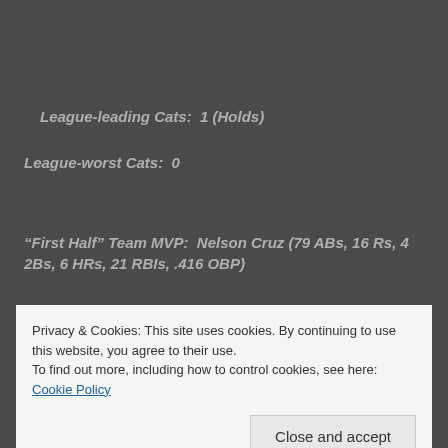League-leading Cats:  1 (Holds)
League-worst Cats:  0
“First Half” Team MVP:  Nelson Cruz (79 ABs, 16 Rs, 4 2Bs, 6 HRs, 21 RBIs, .416 OBP)
Privacy & Cookies: This site uses cookies. By continuing to use this website, you agree to their use.
To find out more, including how to control cookies, see here: Cookie Policy
Close and accept